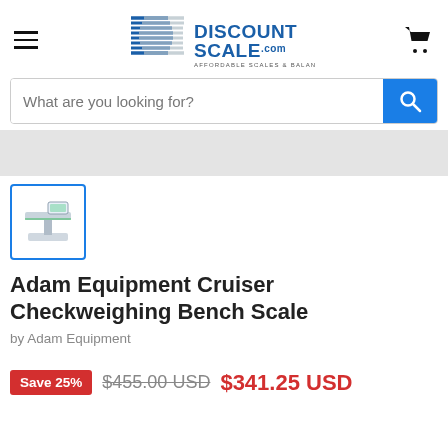[Figure (logo): DiscountScale.com logo with DS icon and tagline 'Affordable Scales & Balances']
What are you looking for?
[Figure (photo): Gray banner/advertisement area]
[Figure (photo): Thumbnail image of Adam Equipment Cruiser Checkweighing Bench Scale in a blue-bordered box]
Adam Equipment Cruiser Checkweighing Bench Scale
by Adam Equipment
Save 25%  $455.00 USD  $341.25 USD